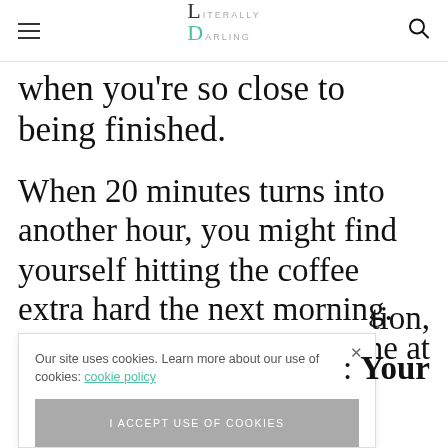Literally Darling [logo with hamburger menu and search]
when you're so close to being finished.
When 20 minutes turns into another hour, you might find yourself hitting the coffee extra hard the next morning. However, seeing your byline at the top of the page
Our site uses cookies. Learn more about our use of cookies: cookie policy
I ACCEPT USE OF COOKIES
tion,
: Your